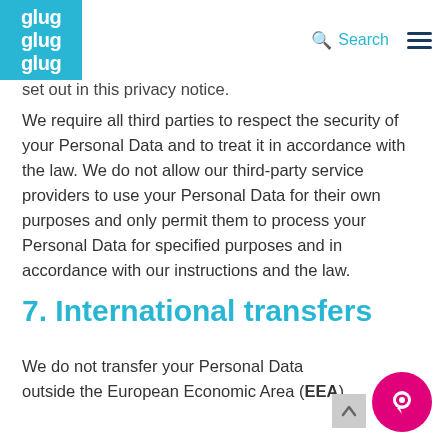glug glug glug | Search | Navigation menu
set out in this privacy notice.
We require all third parties to respect the security of your Personal Data and to treat it in accordance with the law. We do not allow our third-party service providers to use your Personal Data for their own purposes and only permit them to process your Personal Data for specified purposes and in accordance with our instructions and the law.
7. International transfers
We do not transfer your Personal Data outside the European Economic Area (EEA).